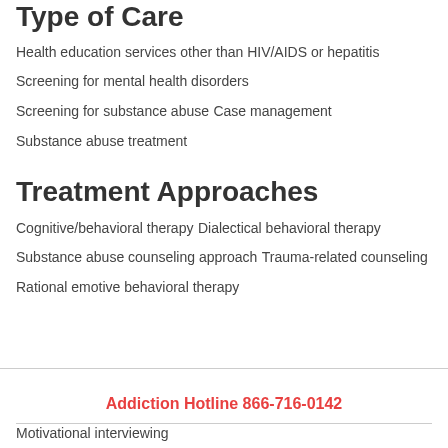Type of Care
Health education services other than HIV/AIDS or hepatitis
Screening for mental health disorders
Screening for substance abuse
Case management
Substance abuse treatment
Treatment Approaches
Cognitive/behavioral therapy
Dialectical behavioral therapy
Substance abuse counseling approach
Trauma-related counseling
Rational emotive behavioral therapy
Addiction Hotline 866-716-0142
Motivational interviewing